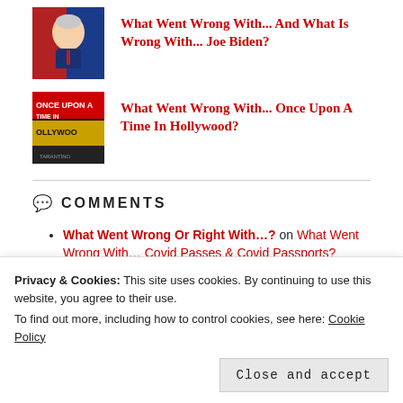[Figure (photo): Thumbnail image of Joe Biden]
What Went Wrong With... And What Is Wrong With... Joe Biden?
[Figure (photo): Thumbnail image for Once Upon A Time In Hollywood]
What Went Wrong With... Once Upon A Time In Hollywood?
COMMENTS
What Went Wrong Or Right With...? on What Went Wrong With... Covid Passes & Covid Passports?
David Kerr on What Went Wrong With... Baz Luhrmann?
Sam M on What Went Wrong With... Colour Terminology For Race?
Sam M on What Went Wrong With... Covid Passes & Covid...
Privacy & Cookies: This site uses cookies. By continuing to use this website, you agree to their use. To find out more, including how to control cookies, see here: Cookie Policy
Close and accept